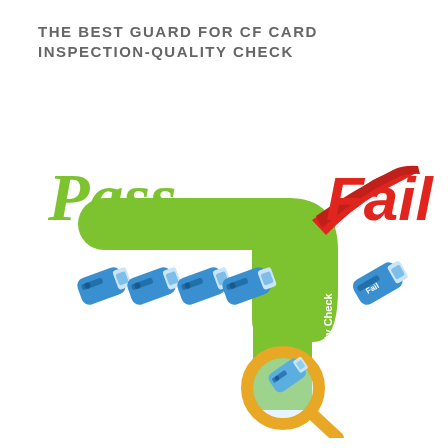THE BEST GUARD FOR CF CARD INSPECTION-QUALITY CHECK
[Figure (infographic): Infographic showing a quality check conveyor/funnel for USB/CF cards. A green curved path labeled 'Quality Check' splits cards into Pass (green script text, multiple blue USB drives passing) and Fail (red bold text, one blue USB drive labeled Fail). A magnifying glass inspects a USB drive at the bottom of the green channel.]